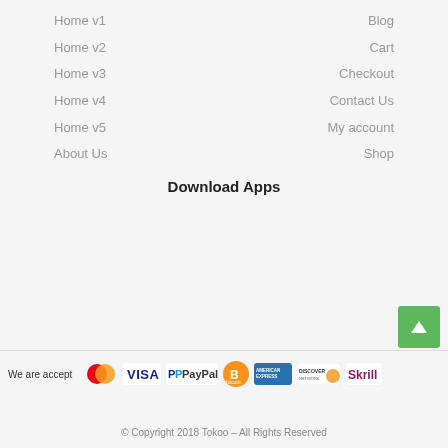Home v1
Home v2
Home v3
Home v4
Home v5
About Us
Blog
Cart
Checkout
Contact Us
My account
Shop
Download Apps
[Figure (logo): Payment method logos: Mastercard, Visa, PayPal, Bitcoin, American Express, Discover Network, Skrill]
We are accept
© Copyright 2018 Tokoo – All Rights Reserved